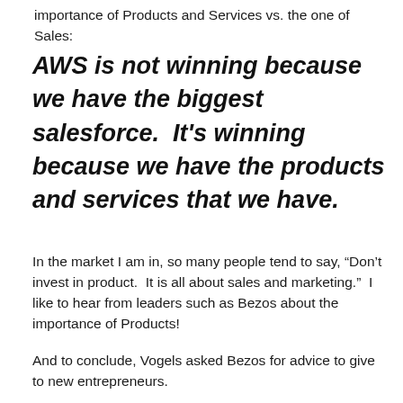importance of Products and Services vs. the one of Sales:
AWS is not winning because we have the biggest salesforce.  It's winning because we have the products and services that we have.
In the market I am in, so many people tend to say, “Don’t invest in product.  It is all about sales and marketing.”  I like to hear from leaders such as Bezos about the importance of Products!
And to conclude, Vogels asked Bezos for advice to give to new entrepreneurs.